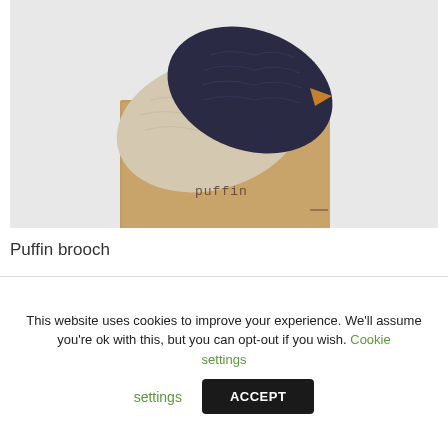[Figure (photo): Product photo of Puffin brooch: two felt bird-shaped brooches (one beige/natural, one dark navy/textured) overlapping on a kraft cardboard backing card stamped with 'puffin' in lowercase letters.]
Puffin brooch
£12.50
This website uses cookies to improve your experience. We'll assume you're ok with this, but you can opt-out if you wish. Cookie settings ACCEPT